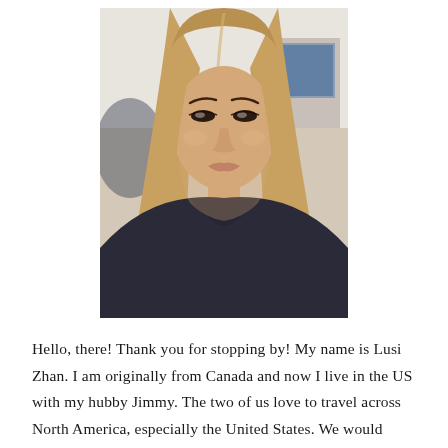[Figure (photo): Selfie photo of a young woman with long straight light brown hair, wearing a dark top and a pendant necklace. She is facing the camera with a neutral expression. The background shows an office or indoor environment with a monitor visible on the right.]
Hello, there! Thank you for stopping by! My name is Lusi Zhan. I am originally from Canada and now I live in the US with my hubby Jimmy. The two of us love to travel across North America, especially the United States. We would drive from Upstate New York to Florida in one night in the middle of the winter to enjoy the sun down in Key West. As we arrived in